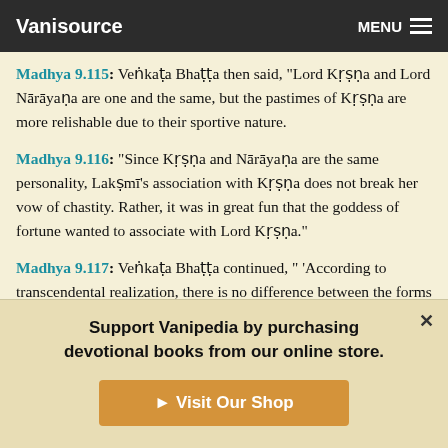Vanisource | MENU
Madhya 9.115: Veṅkaṭa Bhaṭṭa then said, "Lord Kṛṣṇa and Lord Nārāyaṇa are one and the same, but the pastimes of Kṛṣṇa are more relishable due to their sportive nature.
Madhya 9.116: "Since Kṛṣṇa and Nārāyaṇa are the same personality, Lakṣmī's association with Kṛṣṇa does not break her vow of chastity. Rather, it was in great fun that the goddess of fortune wanted to associate with Lord Kṛṣṇa."
Madhya 9.117: Veṅkaṭa Bhaṭṭa continued, " 'According to transcendental realization, there is no difference between the forms of Nārāyaṇa and Kṛṣṇa. Yet in Kṛṣṇa there is a special
Support Vanipedia by purchasing devotional books from our online store.
Visit Our Shop